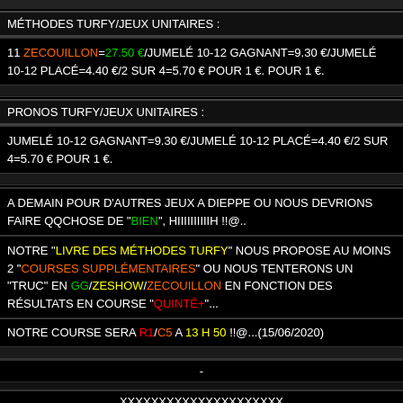MÉTHODES TURFY/JEUX UNITAIRES :
11 ZECOUILLON=27.50 €/JUMELÉ 10-12 GAGNANT=9.30 €/JUMELÉ 10-12 PLACÉ=4.40 €/2 SUR 4=5.70 € POUR 1 €. POUR 1 €.
PRONOS TURFY/JEUX UNITAIRES :
JUMELÉ 10-12 GAGNANT=9.30 €/JUMELÉ 10-12 PLACÉ=4.40 €/2 SUR 4=5.70 € POUR 1 €.
A DEMAIN POUR D'AUTRES JEUX A DIEPPE OU NOUS DEVRIONS FAIRE QQCHOSE DE "BIEN", HIIIIIIIIIIH !!@..
NOTRE "LIVRE DES MÉTHODES TURFY" NOUS PROPOSE AU MOINS 2 "COURSES SUPPLÉMENTAIRES" OU NOUS TENTERONS UN "TRUC" EN GG/ZESHOW/ZECOUILLON EN FONCTION DES RÉSULTATS EN COURSE "QUINTÉ+"...
NOTRE COURSE SERA R1/C5 A 13 H 50 !!@...(15/06/2020)
-
XXXXXXXXXXXXXXXXXXXXX
-